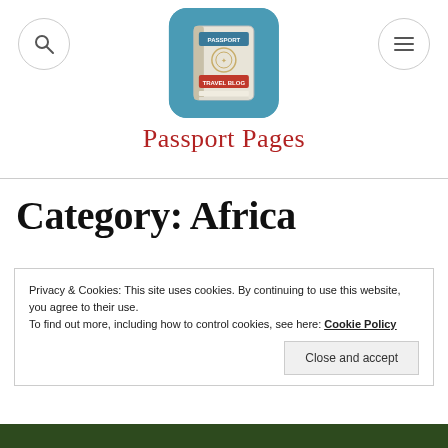Passport Pages
Category: Africa
Privacy & Cookies: This site uses cookies. By continuing to use this website, you agree to their use.
To find out more, including how to control cookies, see here: Cookie Policy
Close and accept